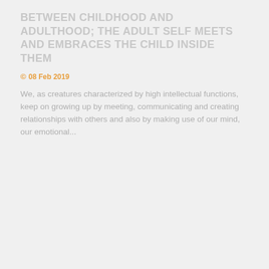BETWEEN CHILDHOOD AND ADULTHOOD; THE ADULT SELF MEETS AND EMBRACES THE CHILD INSIDE THEM
© 08 Feb 2019
We, as creatures characterized by high intellectual functions, keep on growing up by meeting, communicating and creating relationships with others and also by making use of our mind, our emotional...